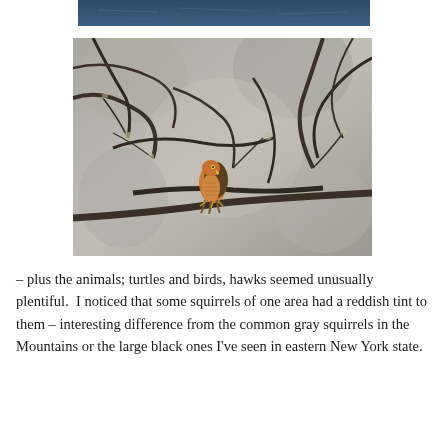[Figure (photo): Partial view of a body of water (river or lake), dark blue, cropped at top of page — only the bottom strip of the image is visible.]
[Figure (photo): A hawk perched on a branch amid a tangle of bare tree branches with Spanish moss or lichen. The bird has a reddish-brown breast and dark wings. The background shows a gray, rocky or bark-covered surface.]
– plus the animals; turtles and birds, hawks seemed unusually plentiful.  I noticed that some squirrels of one area had a reddish tint to them – interesting difference from the common gray squirrels in the Mountains or the large black ones I've seen in eastern New York state.